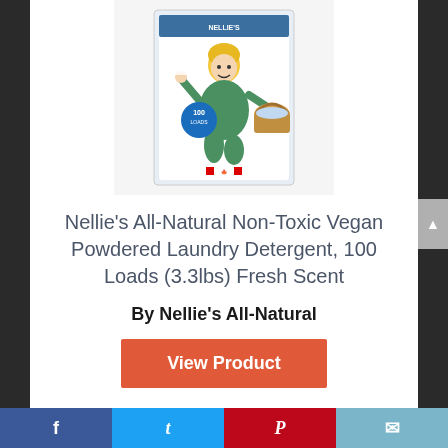[Figure (photo): Nellie's All-Natural laundry detergent product box showing a cartoon woman in green dress carrying laundry basket, with Canadian flag, white box packaging]
Nellie's All-Natural Non-Toxic Vegan Powdered Laundry Detergent, 100 Loads (3.3lbs) Fresh Scent
By Nellie's All-Natural
View Product
9.4 ✓ Score